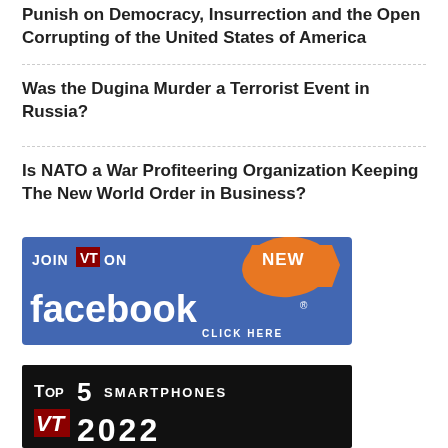Punish on Democracy, Insurrection and the Open Corrupting of the United States of America
Was the Dugina Murder a Terrorist Event in Russia?
Is NATO a War Profiteering Organization Keeping The New World Order in Business?
[Figure (other): Blue banner ad: JOIN VT ON NEW facebook. CLICK HERE]
[Figure (other): Black banner ad: TOP 5 SMARTPHONES VT 2022]